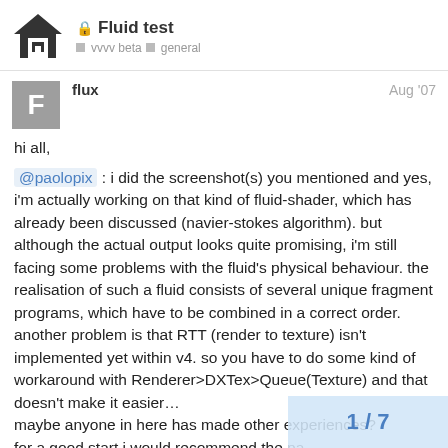🔒 Fluid test — vvvv beta › general
flux   Aug '07
hi all,
@paolopix : i did the screenshot(s) you mentioned and yes, i'm actually working on that kind of fluid-shader, which has already been discussed (navier-stokes algorithm). but although the actual output looks quite promising, i'm still facing some problems with the fluid's physical behaviour. the realisation of such a fluid consists of several unique fragment programs, which have to be combined in a correct order. another problem is that RTT (render to texture) isn't implemented yet within v4. so you have to do some kind of workaround with Renderer>DXTex>Queue(Texture) and that doesn't make it easier… maybe anyone in here has made other experiences? for a good start i would recommend the pa nvidia and also gregsn's wave-shader. if i g
1 / 7